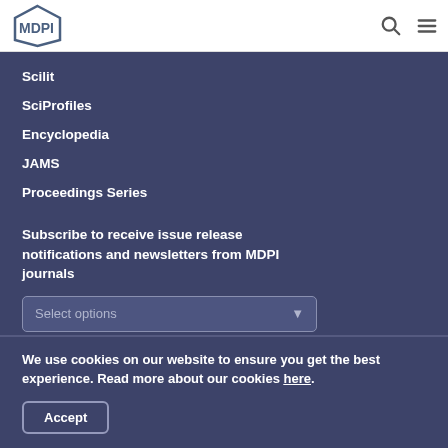MDPI
Scilit
SciProfiles
Encyclopedia
JAMS
Proceedings Series
Subscribe to receive issue release notifications and newsletters from MDPI journals
Select options
We use cookies on our website to ensure you get the best experience. Read more about our cookies here.
Accept